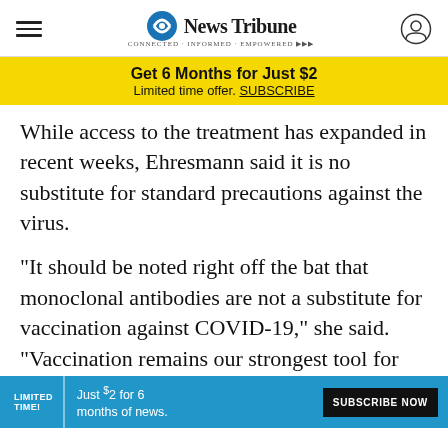Duluth News Tribune
Get 6 Months for Just $2 Limited time offer. SUBSCRIBE
While access to the treatment has expanded in recent weeks, Ehresmann said it is no substitute for standard precautions against the virus.
"It should be noted right off the bat that monoclonal antibodies are not a substitute for vaccination against COVID-19," she said. "Vaccination remains our strongest tool for preventing COVID and preventing severe illness."
More information on signing up for treatment can be found online through the Minnesota Resource Alloca...
LIMITED TIME! Just $2 for 6 months of news. SUBSCRIBE NOW